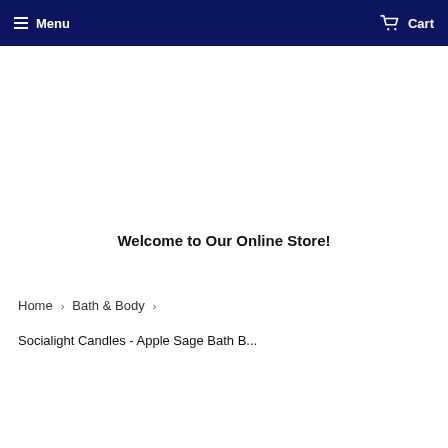Menu   Cart
Welcome to Our Online Store!
Home › Bath & Body ›
Socialight Candles - Apple Sage Bath B...